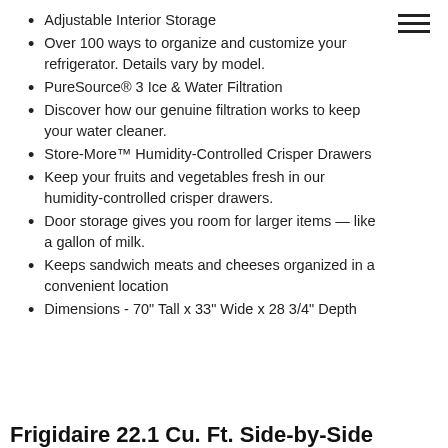Adjustable Interior Storage
Over 100 ways to organize and customize your refrigerator. Details vary by model.
PureSource® 3 Ice & Water Filtration
Discover how our genuine filtration works to keep your water cleaner.
Store-More™ Humidity-Controlled Crisper Drawers
Keep your fruits and vegetables fresh in our humidity-controlled crisper drawers.
Door storage gives you room for larger items — like a gallon of milk.
Keeps sandwich meats and cheeses organized in a convenient location
Dimensions - 70" Tall x 33" Wide x 28 3/4" Depth
Frigidaire 22.1 Cu. Ft. Side-by-Side